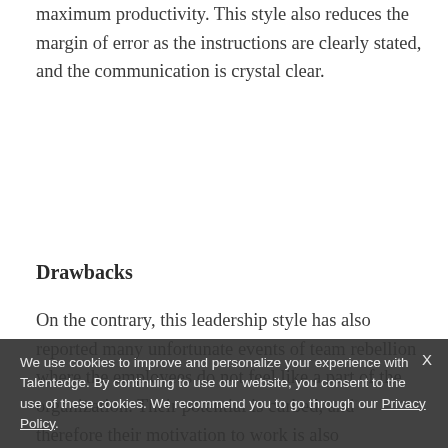maximum productivity. This style also reduces the margin of error as the instructions are clearly stated, and the communication is crystal clear.
Drawbacks
On the contrary, this leadership style has also reported many unfortunate events of team rebellion where the employees do not feel like a part of the organization. Their potential is curbed, and therefore their motivation to work is also significantly...
We use cookies to improve and personalize your experience with Talentedge. By continuing to use our website, you consent to the use of these cookies. We recommend you to go through our Privacy Policy.